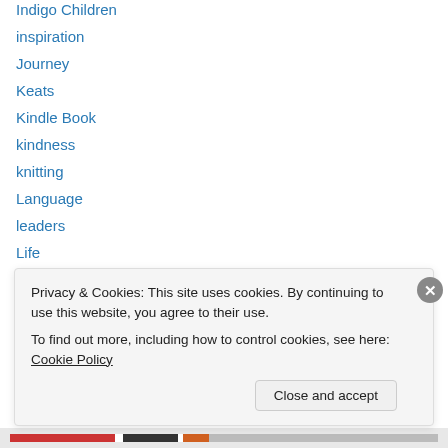Indigo Children
inspiration
Journey
Keats
Kindle Book
kindness
knitting
Language
leaders
Life
Life is a Game: You Created It
Life: A Player's Guide
Mallorca
mallow
Privacy & Cookies: This site uses cookies. By continuing to use this website, you agree to their use.
To find out more, including how to control cookies, see here: Cookie Policy
Close and accept